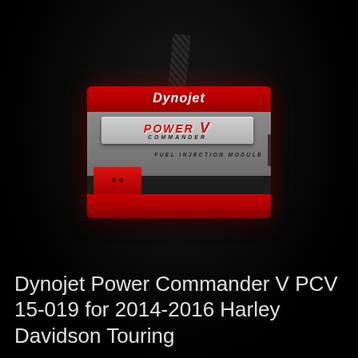[Figure (photo): Dynojet Power Commander V fuel injection module device with red and gray casing, black woven strap/cable attached at top, shown on black background with red glow lighting]
Dynojet Power Commander V PCV 15-019 for 2014-2016 Harley Davidson Touring